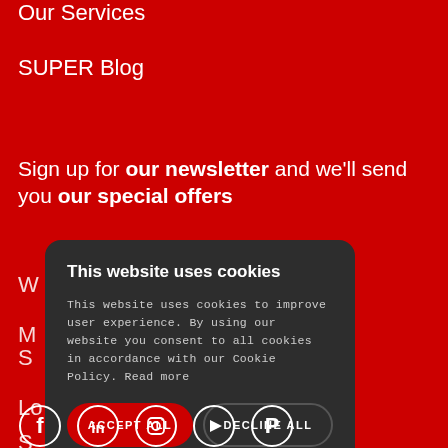Our Services
SUPER Blog
Sign up for our newsletter and we'll send you our special offers
[Figure (screenshot): Cookie consent modal dialog with dark background, title 'This website uses cookies', body text explaining cookie usage, Accept All (red) and Decline All (outlined) buttons, and a Show Details option with gear icon.]
[Figure (illustration): Row of social media icons: Facebook, LinkedIn, Instagram, YouTube, Pinterest — white circular outlined icons on red background]